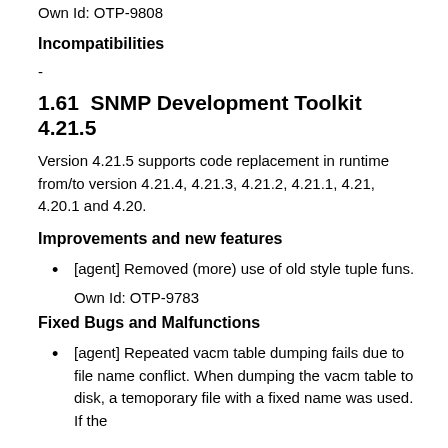Own Id: OTP-9808
Incompatibilities
-
1.61  SNMP Development Toolkit 4.21.5
Version 4.21.5 supports code replacement in runtime from/to version 4.21.4, 4.21.3, 4.21.2, 4.21.1, 4.21, 4.20.1 and 4.20.
Improvements and new features
[agent] Removed (more) use of old style tuple funs.
Own Id: OTP-9783
Fixed Bugs and Malfunctions
[agent] Repeated vacm table dumping fails due to file name conflict. When dumping the vacm table to disk, a temoporary file with a fixed name was used. If the